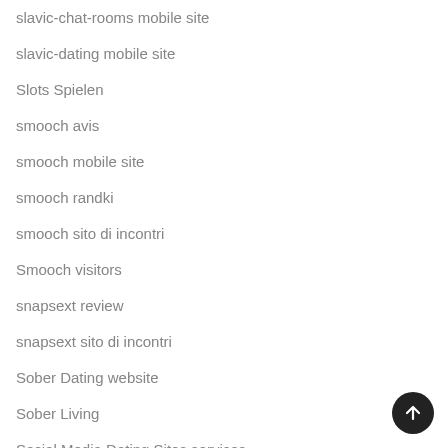slavic-chat-rooms mobile site
slavic-dating mobile site
Slots Spielen
smooch avis
smooch mobile site
smooch randki
smooch sito di incontri
Smooch visitors
snapsext review
snapsext sito di incontri
Sober Dating website
Sober Living
Social Media Dating Sites services
Social Media Dating Sites username